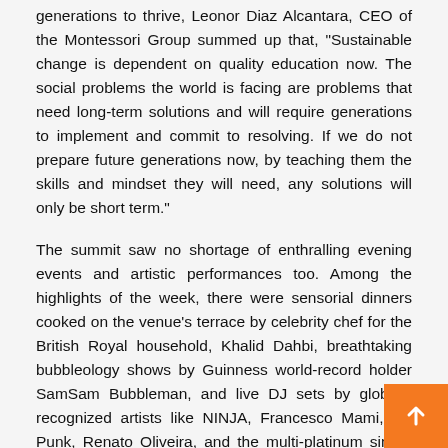generations to thrive, Leonor Diaz Alcantara, CEO of the Montessori Group summed up that, "Sustainable change is dependent on quality education now. The social problems the world is facing are problems that need long-term solutions and will require generations to implement and commit to resolving. If we do not prepare future generations now, by teaching them the skills and mindset they will need, any solutions will only be short term."
The summit saw no shortage of enthralling evening events and artistic performances too. Among the highlights of the week, there were sensorial dinners cooked on the venue's terrace by celebrity chef for the British Royal household, Khalid Dahbi, breathtaking bubbleology shows by Guinness world-record holder SamSam Bubbleman, and live DJ sets by globally recognized artists like NINJA, Francesco Mami, 3D Punk, Renato Oliveira, and the multi-platinum singer Alex Hepburn.
Lan Tschirky, Founder of Lan to Capital and visionary of the s… said: "We were beyond thrilled to welcome some of the br… minds of our world to our space this week. I hope our guests left…